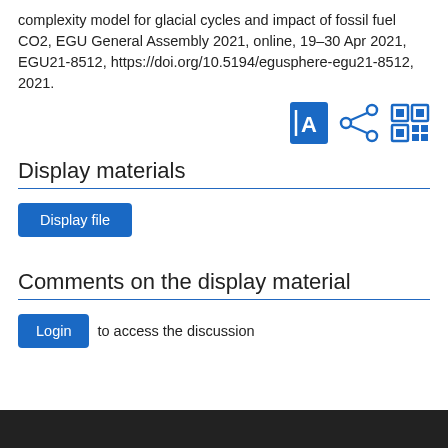complexity model for glacial cycles and impact of fossil fuel CO2, EGU General Assembly 2021, online, 19–30 Apr 2021, EGU21-8512, https://doi.org/10.5194/egusphere-egu21-8512, 2021.
[Figure (other): Three icon buttons: PDF document icon, share/network icon, QR code icon — all in blue]
Display materials
Display file
Comments on the display material
Login to access the discussion